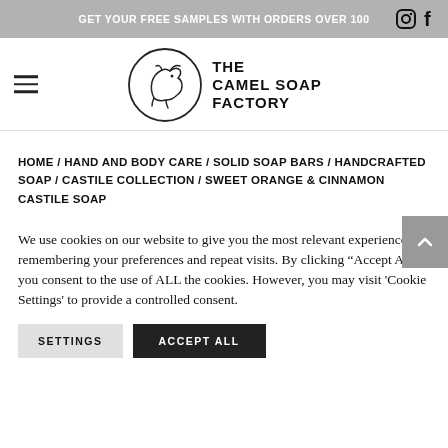GET YOUR FREE SAMPLES WITH ORDERS OVER 100
[Figure (logo): The Camel Soap Factory logo: camel head in a circle with brand name text]
HOME / HAND AND BODY CARE / SOLID SOAP BARS / HANDCRAFTED SOAP / CASTILE COLLECTION / SWEET ORANGE & CINNAMON CASTILE SOAP
We use cookies on our website to give you the most relevant experience by remembering your preferences and repeat visits. By clicking "Accept All", you consent to the use of ALL the cookies. However, you may visit 'Cookie Settings' to provide a controlled consent.
SETTINGS   ACCEPT ALL